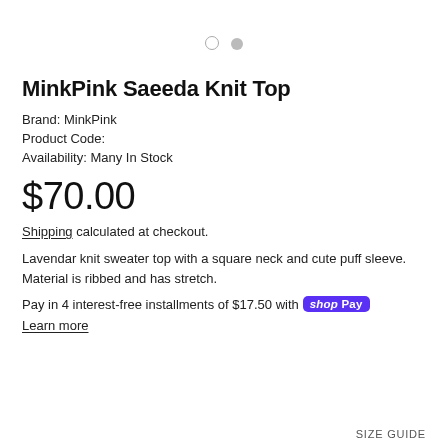[Figure (other): Two pagination dots, one empty circle and one filled gray circle]
MinkPink Saeeda Knit Top
Brand: MinkPink
Product Code:
Availability: Many In Stock
$70.00
Shipping calculated at checkout.
Lavendar knit sweater top with a square neck and cute puff sleeve. Material is ribbed and has stretch.
Pay in 4 interest-free installments of $17.50 with shop Pay
Learn more
SIZE GUIDE